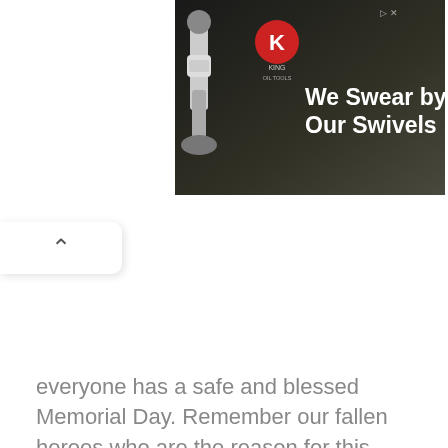[Figure (screenshot): Advertisement banner for King Oil Tools showing 'We Swear by Our Swivels' with a logo and arrow, on a dark background with ad control icons in top right corner]
[Figure (screenshot): Navigation UI element: a white rounded tab with a caret/up-arrow icon]
everyone has a safe and blessed Memorial Day. Remember our fallen heroes who are the reason for this amazing day. See you Tuesday!!